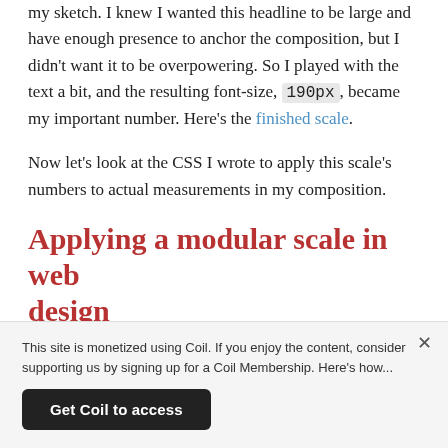my sketch. I knew I wanted this headline to be large and have enough presence to anchor the composition, but I didn't want it to be overpowering. So I played with the text a bit, and the resulting font-size, 190px, became my important number. Here's the finished scale.
Now let's look at the CSS I wrote to apply this scale's numbers to actual measurements in my composition.
Applying a modular scale in web design
This site is monetized using Coil. If you enjoy the content, consider supporting us by signing up for a Coil Membership. Here's how...
Get Coil to access